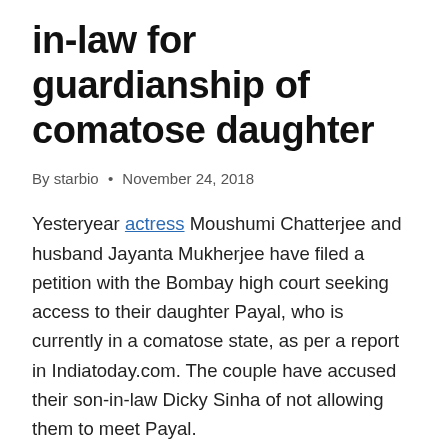in-law for guardianship of comatose daughter
By starbio • November 24, 2018
Yesteryear actress Moushumi Chatterjee and husband Jayanta Mukherjee have filed a petition with the Bombay high court seeking access to their daughter Payal, who is currently in a comatose state, as per a report in Indiatoday.com. The couple have accused their son-in-law Dicky Sinha of not allowing them to meet Payal.
They have appealed to the high court to appoint them as her legal guardians. The matter will be